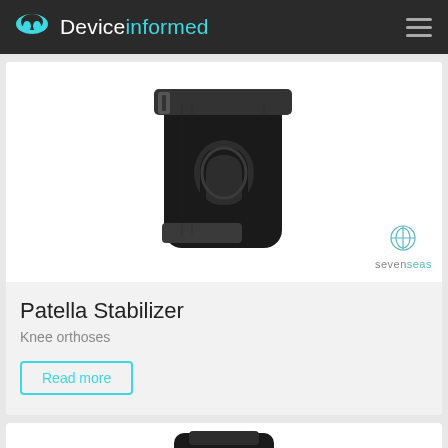Deviceinformed
[Figure (photo): Black knee patella stabilizer brace with straps and horseshoe-shaped patellar pad, shown on white background. Seven Seas brand logo in bottom right corner.]
Patella Stabilizer
Knee orthoses
Read more
[Figure (photo): Partial view of another medical device product (cropped at bottom of page).]